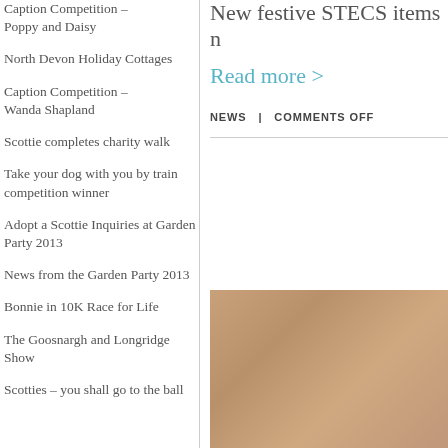Caption Competition – Poppy and Daisy
North Devon Holiday Cottages
Caption Competition – Wanda Shapland
Scottie completes charity walk
Take your dog with you by train competition winner
Adopt a Scottie Inquiries at Garden Party 2013
News from the Garden Party 2013
Bonnie in 10K Race for Life
The Goosnargh and Longridge Show
Scotties – you shall go to the ball
New festive STECS items n
Read more >
NEWS | COMMENTS OFF
[Figure (photo): Brown/tan textured photo, possibly a dog or animal close-up]